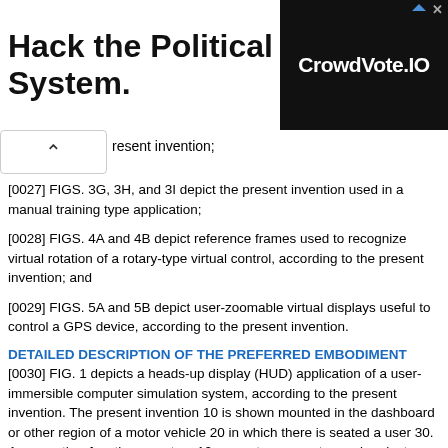[Figure (other): Advertisement banner: 'Hack the Political System.' text on left, CrowdVote.IO logo on dark background on right]
resent invention;
[0027] FIGS. 3G, 3H, and 3I depict the present invention used in a manual training type application;
[0028] FIGS. 4A and 4B depict reference frames used to recognize virtual rotation of a rotary-type virtual control, according to the present invention; and
[0029] FIGS. 5A and 5B depict user-zoomable virtual displays useful to control a GPS device, according to the present invention.
DETAILED DESCRIPTION OF THE PREFERRED EMBODIMENT
[0030] FIG. 1 depicts a heads-up display (HUD) application of a user-immersible computer simulation system, according to the present invention. The present invention 10 is shown mounted in the dashboard or other region of a motor vehicle 20 in which there is seated a user 30. Among other functions, system 10 computer-generates and projects imagery onto or adjacent an image region 40 of front windshield 50 of vehicle 20. Image projection can be carried out with conventional systems such as LCDs, or micro-mirrors. In this embodiment, user 30 can look ahead through